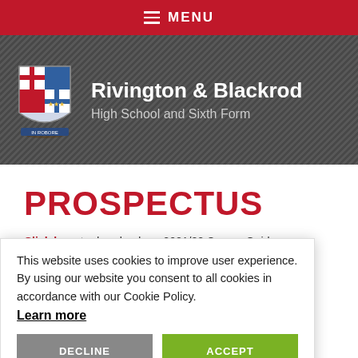≡ MENU
[Figure (logo): Rivington & Blackrod High School and Sixth Form banner with school crest/coat of arms logo on dark grey background]
PROSPECTUS
Click here to download our 2021/22 Course Guide
This website uses cookies to improve user experience. By using our website you consent to all cookies in accordance with our Cookie Policy. Learn more
DECLINE
ACCEPT